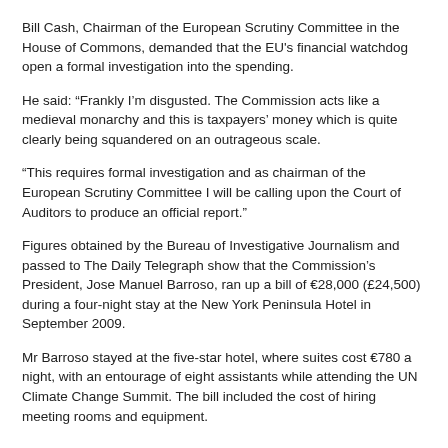Bill Cash, Chairman of the European Scrutiny Committee in the House of Commons, demanded that the EU's financial watchdog open a formal investigation into the spending.
He said: “Frankly I’m disgusted. The Commission acts like a medieval monarchy and this is taxpayers’ money which is quite clearly being squandered on an outrageous scale.
“This requires formal investigation and as chairman of the European Scrutiny Committee I will be calling upon the Court of Auditors to produce an official report.”
Figures obtained by the Bureau of Investigative Journalism and passed to The Daily Telegraph show that the Commission’s President, Jose Manuel Barroso, ran up a bill of €28,000 (£24,500) during a four-night stay at the New York Peninsula Hotel in September 2009.
Mr Barroso stayed at the five-star hotel, where suites cost €780 a night, with an entourage of eight assistants while attending the UN Climate Change Summit. The bill included the cost of hiring meeting rooms and equipment.